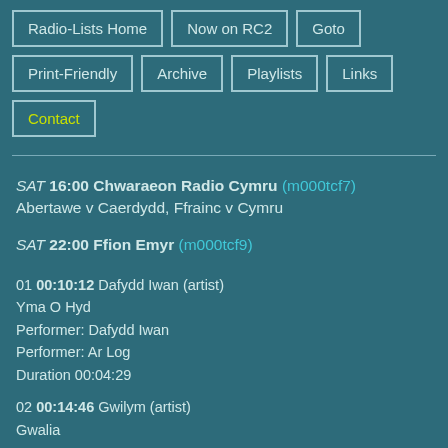Radio-Lists Home
Now on RC2
Goto
Print-Friendly
Archive
Playlists
Links
Contact
SAT 16:00 Chwaraeon Radio Cymru (m000tcf7)
Abertawe v Caerdydd, Ffrainc v Cymru
SAT 22:00 Ffion Emyr (m000tcf9)
01 00:10:12 Dafydd Iwan (artist)
Yma O Hyd
Performer: Dafydd Iwan
Performer: Ar Log
Duration 00:04:29
02 00:14:46 Gwilym (artist)
Gwalia